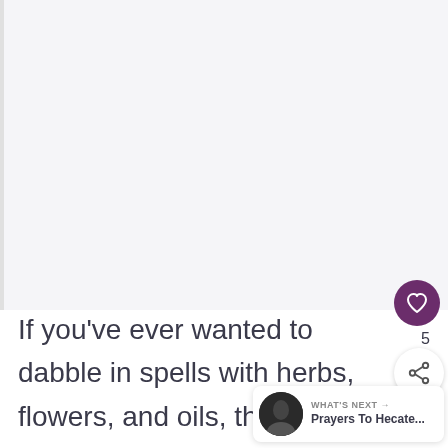[Figure (other): Large blank/white content area placeholder at top of page, light gray background]
If you've ever wanted to dabble in spells with herbs, flowers, and oils, this is a great place to start.